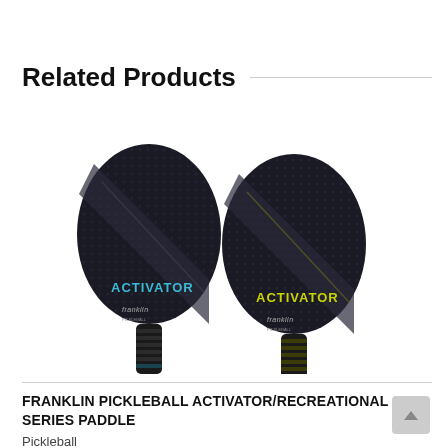Related Products
[Figure (photo): Two Franklin Pickleball Activator paddles side by side. Left paddle has blue 'ACTIVATOR' text, right paddle has yellow-green 'ACTIVATOR' text. Both are dark/black with a textured surface and diagonal stripe design. Franklin Sports branding visible on paddle faces. Dark handles with wrapped grip.]
FRANKLIN PICKLEBALL ACTIVATOR/RECREATIONAL SERIES PADDLE
Pickleball